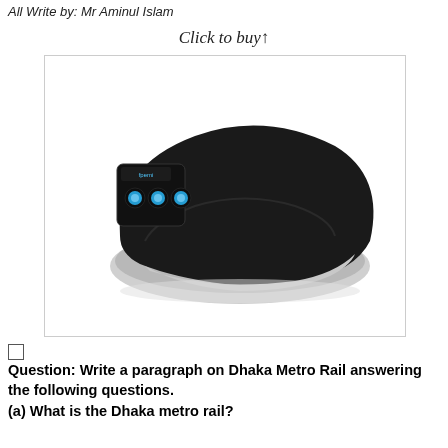All Write By: Mr. Aminul Islam
Click to buy↑
[Figure (photo): A black Bluetooth headband/sleep mask with built-in speakers and control buttons on the left side. The headband has a white/light gray inner lining visible at the bottom. Multiple blue-lit circular buttons are visible on a square control module on the left.]
Question: Write a paragraph on Dhaka Metro Rail answering the following questions.
(a) What is the Dhaka metro rail?